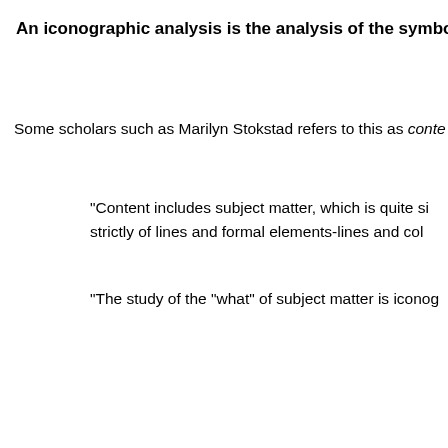An iconographic analysis is the analysis of the symbols a
Some scholars such as Marilyn Stokstad refers to this as conte
"Content includes subject matter, which is quite si strictly of lines and formal elements-lines and col
"The study of the "what" of subject matter is iconog